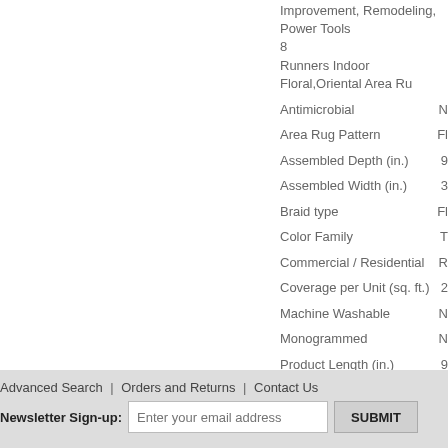Improvement, Remodeling, Power Tools
8
Runners Indoor Floral,Oriental Area Ru
| Attribute | Value |
| --- | --- |
| Antimicrobial | N |
| Area Rug Pattern | Fl |
| Assembled Depth (in.) | 9 |
| Assembled Width (in.) | 3 |
| Braid type | Fl |
| Color Family | T |
| Commercial / Residential | R |
| Coverage per Unit (sq. ft.) | 2 |
| Machine Washable | N |
| Monogrammed | N |
| Product Length (in.) | 9 |
| Product Width (in.) | 3 |
| Rug Material | W |
| Unit | It |
Advanced Search | Orders and Returns | Contact Us
Newsletter Sign-up:
Enter your email address
SUBMIT